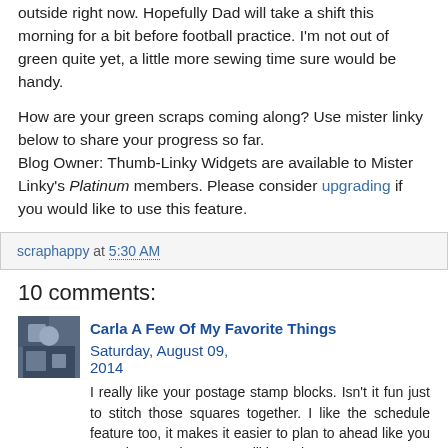outside right now.  Hopefully Dad will take a shift this morning for a bit before football practice.  I'm not out of green quite yet, a little more sewing time sure would be handy.
How are your green scraps coming along?  Use mister linky below to share your progress so far.
Blog Owner: Thumb-Linky Widgets are available to Mister Linky's Platinum members. Please consider upgrading if you would like to use this feature.
scraphappy at 5:30 AM
10 comments:
Carla A Few Of My Favorite Things  Saturday, August 09, 2014
I really like your postage stamp blocks. Isn't it fun just to stitch those squares together. I like the schedule feature too, it makes it easier to plan to ahead like you say when you know you will be to busy.